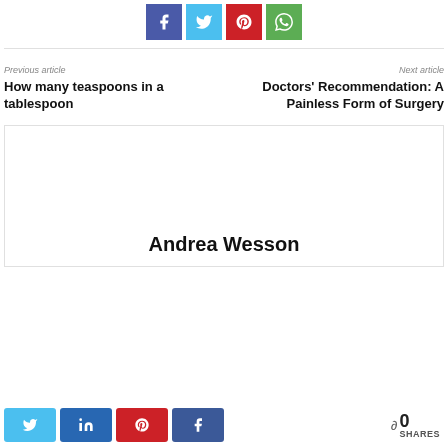[Figure (other): Social share buttons: Facebook (indigo), Twitter (cyan), Pinterest (red), WhatsApp (green)]
Previous article
How many teaspoons in a tablespoon
Next article
Doctors' Recommendation: A Painless Form of Surgery
Andrea Wesson
[Figure (other): Bottom social share bar: Twitter, LinkedIn, Pinterest, Facebook buttons, and share count showing 0 SHARES]